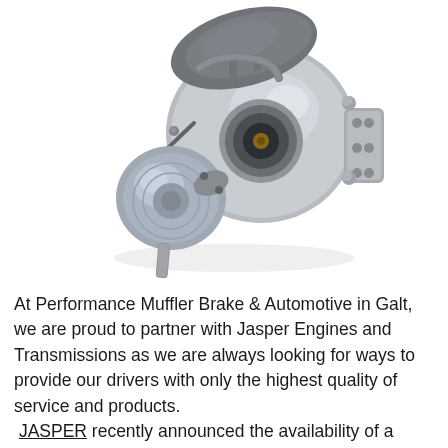[Figure (photo): A turbocharger unit photographed against a white background. The turbo shows a silver/metallic housing with a circular compressor inlet, an actuator arm, and various ports. The unit appears to be a remanufactured or new turbocharger component.]
At Performance Muffler Brake & Automotive in Galt, we are proud to partner with Jasper Engines and Transmissions as we are always looking for ways to provide our drivers with only the highest quality of service and products. JASPER recently announced the availability of a